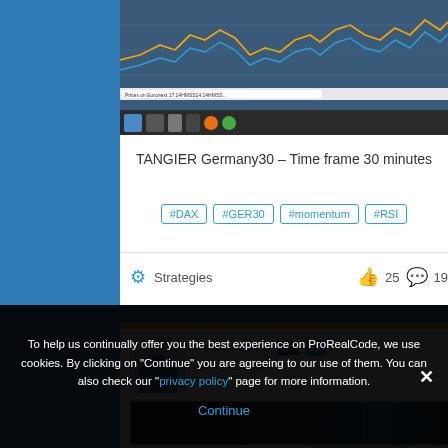[Figure (screenshot): Screenshot of TANGIER Germany30 trading chart with taskbar]
TANGIER Germany30 – Time frame 30 minutes
#DAX #GER30 #momentum #RSI
Strategies  25  19
[Figure (screenshot): User PastaPesto profile with avatar and post screenshot, 4 years ago]
To help us continually offer you the best experience on ProRealCode, we use cookies. By clicking on "Continue" you are agreeing to our use of them. You can also check our "privacy policy" page for more information.
Continue